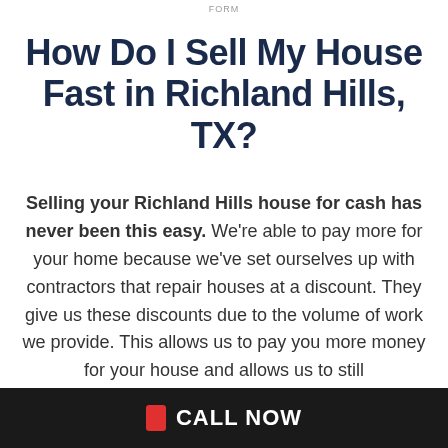FORM
How Do I Sell My House Fast in Richland Hills, TX?
Selling your Richland Hills house for cash has never been this easy. We’re able to pay more for your home because we’ve set ourselves up with contractors that repair houses at a discount. They give us these discounts due to the volume of work we provide. This allows us to pay you more money for your house and allows us to still
CALL NOW